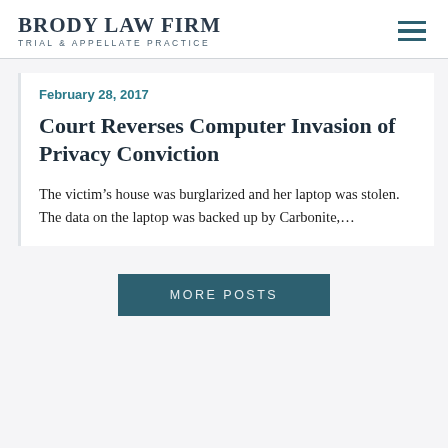BRODY LAW FIRM — TRIAL & APPELLATE PRACTICE
February 28, 2017
Court Reverses Computer Invasion of Privacy Conviction
The victim's house was burglarized and her laptop was stolen. The data on the laptop was backed up by Carbonite,...
MORE POSTS